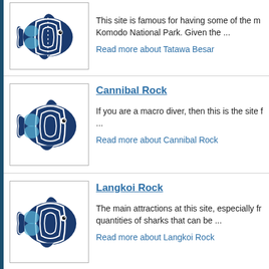[Figure (illustration): Blue and white striped tropical fish illustration (angelfish style)]
This site is famous for having some of the m... Komodo National Park. Given the ...
Read more about Tatawa Besar
[Figure (illustration): Blue and white striped tropical fish illustration (angelfish style)]
Cannibal Rock
If you are a macro diver, then this is the site f... ...
Read more about Cannibal Rock
[Figure (illustration): Blue and white striped tropical fish illustration (angelfish style)]
Langkoi Rock
The main attractions at this site, especially fr... quantities of sharks that can be ...
Read more about Langkoi Rock